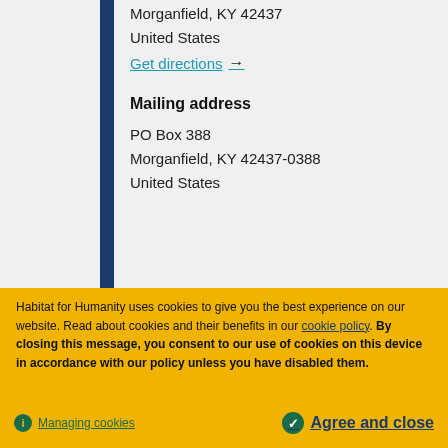Morganfield, KY 42437
United States
Get directions →
Mailing address
PO Box 388
Morganfield, KY 42437-0388
United States
HFH of Montgomery County
Habitat for Humanity uses cookies to give you the best experience on our website. Read about cookies and their benefits in our cookie policy. By closing this message, you consent to our use of cookies on this device in accordance with our policy unless you have disabled them.
Managing cookies
Agree and close